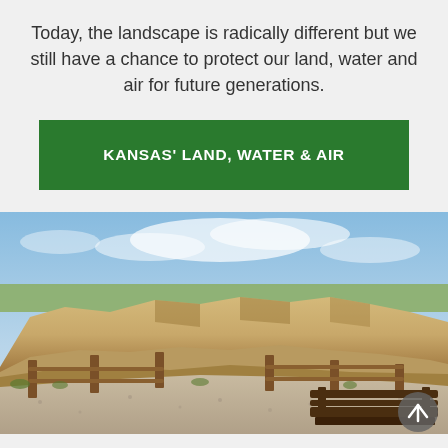Today, the landscape is radically different but we still have a chance to protect our land, water and air for future generations.
KANSAS' LAND, WATER & AIR
[Figure (photo): Outdoor landscape photo showing rocky chalk formations and a wooden fence railing at a scenic overlook, with a bench in the foreground and open prairie and blue sky in the background, likely in western Kansas.]